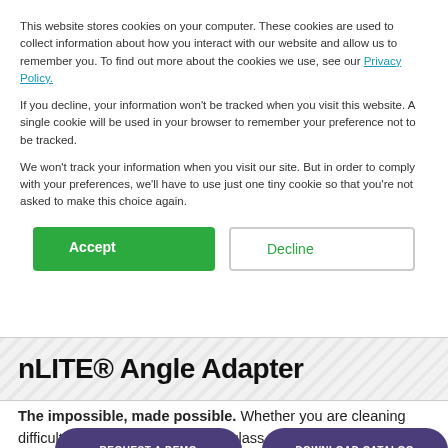This website stores cookies on your computer. These cookies are used to collect information about how you interact with our website and allow us to remember you. To find out more about the cookies we use, see our Privacy Policy.
If you decline, your information won't be tracked when you visit this website. A single cookie will be used in your browser to remember your preference not to be tracked.
We won't track your information when you visit our site. But in order to comply with your preferences, we'll have to use just one tiny cookie so that you're not asked to make this choice again.
[Figure (other): Accept and Decline cookie consent buttons]
nLITE® Angle Adapter
The impossible, made possible. Whether you are cleaning difficult overhanging elements or glass roofing and walls, this system gives you the perfect solution for every application. With the nLITE® system you can